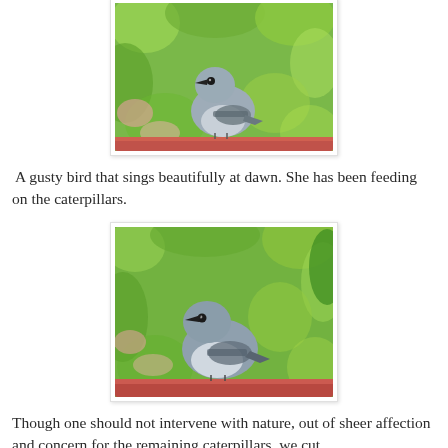[Figure (photo): A small gray bird perched on a reddish surface against a green leafy background. The bird has a dark bill, gray upper parts, and lighter underparts with dark wing markings.]
A gusty bird that sings beautifully at dawn. She has been feeding on the caterpillars.
[Figure (photo): A small gray bird perched on a reddish surface against a green leafy background. The bird is facing left, showing its gray and white underside with dark wing markings.]
Though one should not intervene with nature, out of sheer affection and concern for the remaining caterpillars, we cut